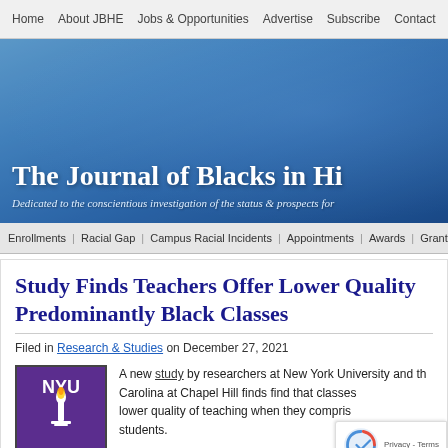Home | About JBHE | Jobs & Opportunities | Advertise | Subscribe | Contact
[Figure (screenshot): Blue gradient banner for The Journal of Blacks in Higher Education website with the title and subtitle partially visible]
The Journal of Blacks in Hi[gher Education]
Dedicated to the conscientious investigation of the status & prospects for...
Enrollments | Racial Gap | Campus Racial Incidents | Appointments | Awards | Grants | B...
Study Finds Teachers Offer Lower Quality [Instruction in] Predominantly Black Classes
Filed in Research & Studies on December 27, 2021
[Figure (logo): NYU logo - purple background with NYU torch symbol in white]
A new study by researchers at New York University and th[e University of North] Carolina at Chapel Hill finds find that classes [receive] lower quality of teaching when they compris[e mostly Black] students.